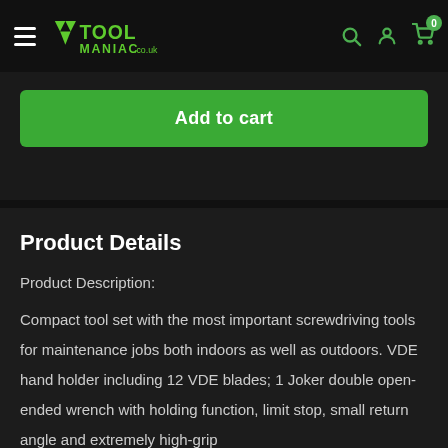Tool Maniac .co.uk — Navigation bar with hamburger menu, logo, search, account, and cart icons
Add to cart
Product Details
Product Description:
Compact tool set with the most important screwdriving tools for maintenance jobs both indoors as well as outdoors. VDE hand holder including 12 VDE blades; 1 Joker double open-ended wrench with holding function, limit stop, small return angle and extremely high-grip